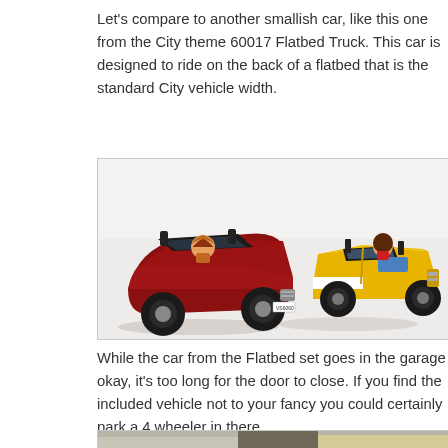Let's compare to another smallish car, like this one from the City theme 60017 Flatbed Truck. This car is designed to ride on the back of a flatbed that is the standard City vehicle width.
[Figure (photo): Two LEGO cars side by side on a white surface. On the left is a dark red/maroon car with a female minifigure with orange hair. On the right is a yellow car (from the Flatbed Truck set 60017) with a male minifigure with dark brown hair.]
While the car from the Flatbed set goes in the garage okay, it's too long for the door to close. If you find the included vehicle not to your fancy you could certainly park a 4 wheeler in there.
[Figure (photo): Partial view of another LEGO scene showing what appears to be a garage or building with a vehicle, cropped at the bottom of the page.]